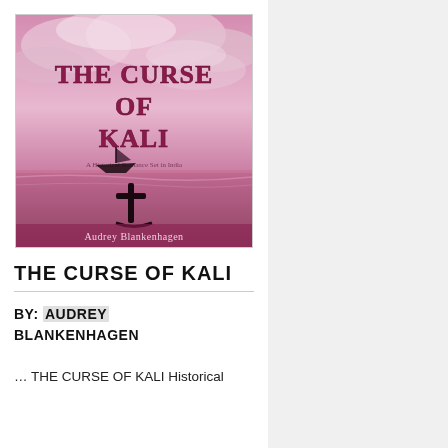[Figure (illustration): Book cover of 'The Curse of Kali' by Audrey Blankenhagen. Pink and purple cloudy sky background with dark silhouette of a boat on water. The title 'THE CURSE OF KALI' is written in decorative pink/red letters. The author's name 'Audrey Blankenhagen' appears at the bottom of the cover.]
THE CURSE OF KALI
BY: AUDREY BLANKENHAGEN
... THE CURSE OF KALI Historical